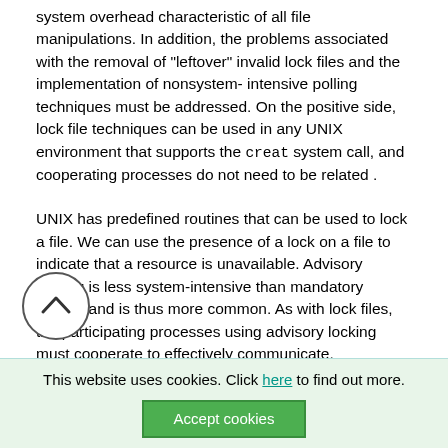system overhead characteristic of all file manipulations. In addition, the problems associated with the removal of "leftover" invalid lock files and the implementation of nonsystem- intensive polling techniques must be addressed. On the positive side, lock file techniques can be used in any UNIX environment that supports the creat system call, and cooperating processes do not need to be related .
UNIX has predefined routines that can be used to lock a file. We can use the presence of a lock on a file to indicate that a resource is unavailable. Advisory locking is less system-intensive than mandatory locking and is thus more common. As with lock files, the participating processes using advisory locking must cooperate to effectively communicate.
content, they can be, as we have seen, used to